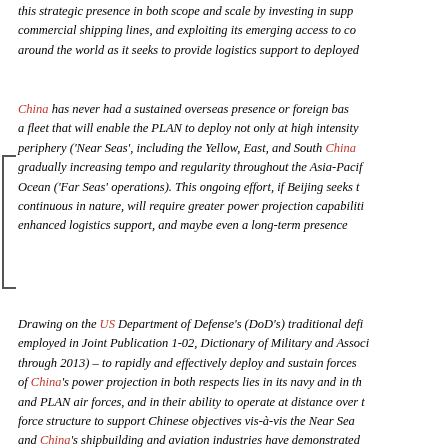this strategic presence in both scope and scale by investing in support of commercial shipping lines, and exploiting its emerging access to commercial ports around the world as it seeks to provide logistics support to deployed forces.
China has never had a sustained overseas presence or foreign base, but is building a fleet that will enable the PLAN to deploy not only at high intensity around the periphery ('Near Seas', including the Yellow, East, and South China Seas) but with gradually increasing tempo and regularity throughout the Asia-Pacific and the Indian Ocean ('Far Seas' operations). This ongoing effort, if Beijing seeks to make it continuous in nature, will require greater power projection capabilities, enhanced logistics support, and maybe even a long-term presence.
Drawing on the US Department of Defense's (DoD's) traditional definition as employed in Joint Publication 1-02, Dictionary of Military and Associated Terms (updated through 2013) – to rapidly and effectively deploy and sustain forces – the core of China's power projection in both respects lies in its navy and in the PLAAF and PLAN air forces, and in their ability to operate at distance over time. China's current force structure to support Chinese objectives vis-à-vis the Near Seas is substantial, and China's shipbuilding and aviation industries have demonstrated an ability to produce advanced ships and aircraft, an effort is under way to progressively introduce some of the more capable platforms that could be used for Far Seas operations: area air-defence destroyers and frigates, replenishment vessels, and